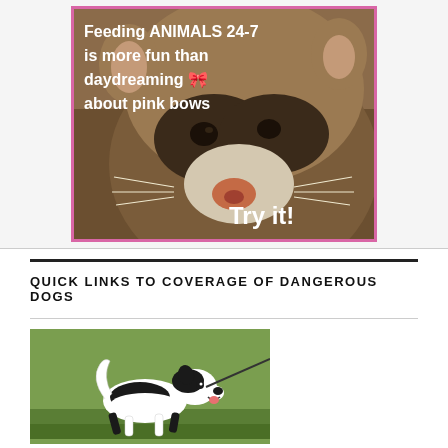[Figure (photo): Close-up photo of a ferret with text overlay: 'Feeding ANIMALS 24-7 is more fun than daydreaming 🎀 about pink bows' and 'Try it!' The image has a pink border.]
QUICK LINKS TO COVERAGE OF DANGEROUS DOGS
[Figure (photo): Photo of a small black and white dog running on grass, on a leash.]